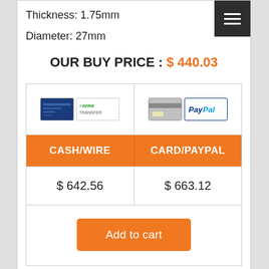Thickness: 1.75mm
Diameter: 27mm
OUR BUY PRICE : $ 440.03
| CASH/WIRE | CARD/PAYPAL |
| --- | --- |
| $ 642.56 | $ 663.12 |
Add to cart